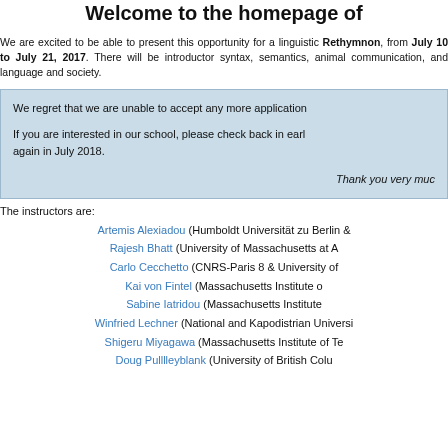Welcome to the homepage of
We are excited to be able to present this opportunity for a linguistic... Rethymnon, from July 10 to July 21, 2017. There will be introductory... syntax, semantics, animal communication, and language and society.
We regret that we are unable to accept any more applications.

If you are interested in our school, please check back in early... again in July 2018.

Thank you very much
The instructors are:
Artemis Alexiadou (Humboldt Universität zu Berlin &...
Rajesh Bhatt (University of Massachusetts at A...
Carlo Cecchetto (CNRS-Paris 8 & University of ...
Kai von Fintel (Massachusetts Institute o...
Sabine Iatridou (Massachusetts Institute...
Winfried Lechner (National and Kapodistrian Universi...
Shigeru Miyagawa (Massachusetts Institute of Te...
Doug Pulllleyblank (University of British Colu...